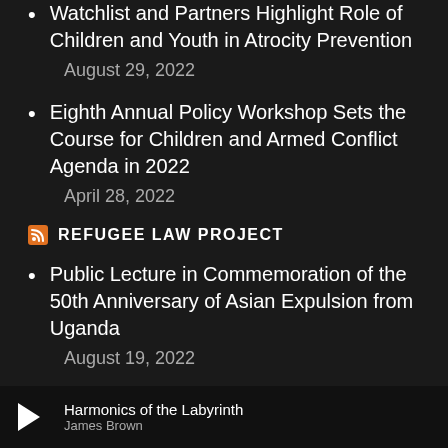Watchlist and Partners Highlight Role of Children and Youth in Atrocity Prevention
August 29, 2022
Eighth Annual Policy Workshop Sets the Course for Children and Armed Conflict Agenda in 2022
April 28, 2022
REFUGEE LAW PROJECT
Public Lecture in Commemoration of the 50th Anniversary of Asian Expulsion from Uganda
August 19, 2022
Harmonics of the Labyrinth — James Brown